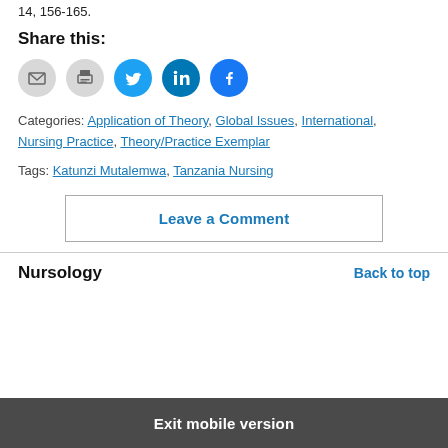14, 156-165.
Share this:
[Figure (other): Social sharing icons: email (gray circle), print (gray circle), Twitter (blue circle), LinkedIn (dark blue circle), Facebook (blue circle)]
Categories: Application of Theory, Global Issues, International, Nursing Practice, Theory/Practice Exemplar
Tags: Katunzi Mutalemwa, Tanzania Nursing
Leave a Comment
Nursology
Back to top
Exit mobile version